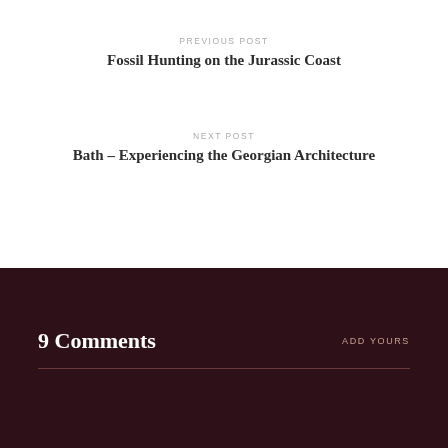PREVIOUS POST
Fossil Hunting on the Jurassic Coast
NEXT POST
Bath – Experiencing the Georgian Architecture
9 Comments
ADD YOURS